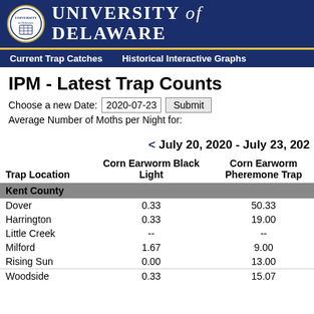UNIVERSITY of DELAWARE
Current Trap Catches   Historical Interactive Graphs
IPM - Latest Trap Counts
Choose a new Date: 2020-07-23 Submit
Average Number of Moths per Night for:
< July 20, 2020 - July 23, 2020
| Trap Location | Corn Earworm Black Light | Corn Earworm Pheremone Trap |
| --- | --- | --- |
| Kent County |  |  |
| Dover | 0.33 | 50.33 |
| Harrington | 0.33 | 19.00 |
| Little Creek | -- | -- |
| Milford | 1.67 | 9.00 |
| Rising Sun | 0.00 | 13.00 |
| Woodside | 0.33 | 15.07 |